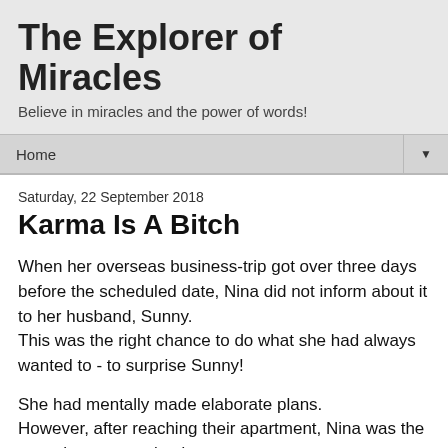The Explorer of Miracles
Believe in miracles and the power of words!
Home
Saturday, 22 September 2018
Karma Is A Bitch
When her overseas business-trip got over three days before the scheduled date, Nina did not inform about it to her husband, Sunny.
This was the right chance to do what she had always wanted to - to surprise Sunny!
She had mentally made elaborate plans.
However, after reaching their apartment, Nina was the one who got surprised.
There were some women's items like hair-clip, cup with